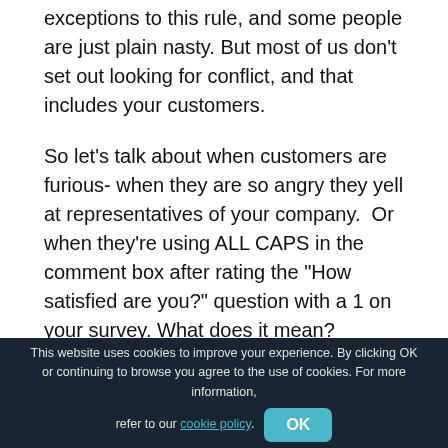exceptions to this rule, and some people are just plain nasty. But most of us don't set out looking for conflict, and that includes your customers.
So let's talk about when customers are furious- when they are so angry they yell at representatives of your company.  Or when they're using ALL CAPS in the comment box after rating the “How satisfied are you?” question with a 1 on your survey. What does it mean?
It means they are fed up, quite literally, with trying so hard.
This website uses cookies to improve your experience. By clicking OK or continuing to browse you agree to the use of cookies. For more information, refer to our cookie policy.